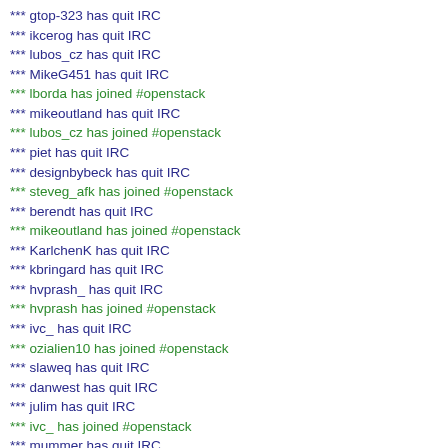*** gtop-323 has quit IRC
*** ikcerog has quit IRC
*** lubos_cz has quit IRC
*** MikeG451 has quit IRC
*** lborda has joined #openstack
*** mikeoutland has quit IRC
*** lubos_cz has joined #openstack
*** piet has quit IRC
*** designbybeck has quit IRC
*** steveg_afk has joined #openstack
*** berendt has quit IRC
*** mikeoutland has joined #openstack
*** KarlchenK has quit IRC
*** kbringard has quit IRC
*** hvprash_ has quit IRC
*** hvprash has joined #openstack
*** ivc_ has quit IRC
*** ozialien10 has joined #openstack
*** slaweq has quit IRC
*** danwest has quit IRC
*** julim has quit IRC
*** ivc_ has joined #openstack
*** mummer has quit IRC